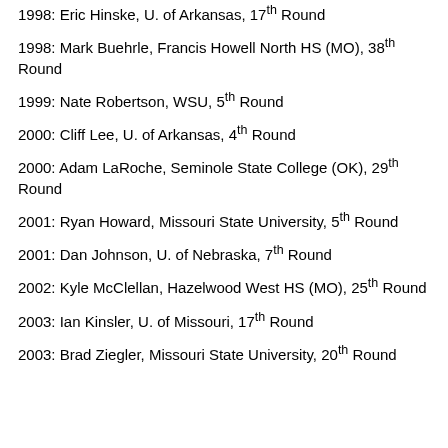1998: Eric Hinske, U. of Arkansas, 17th Round
1998: Mark Buehrle, Francis Howell North HS (MO), 38th Round
1999: Nate Robertson, WSU, 5th Round
2000: Cliff Lee, U. of Arkansas, 4th Round
2000: Adam LaRoche, Seminole State College (OK), 29th Round
2001: Ryan Howard, Missouri State University, 5th Round
2001: Dan Johnson, U. of Nebraska, 7th Round
2002: Kyle McClellan, Hazelwood West HS (MO), 25th Round
2003: Ian Kinsler, U. of Missouri, 17th Round
2003: Brad Ziegler, Missouri State University, 20th Round